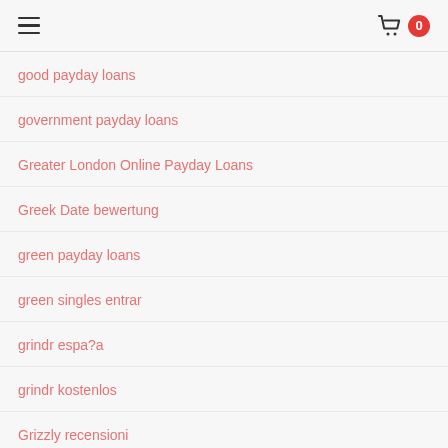≡  🛒 0
good payday loans
government payday loans
Greater London Online Payday Loans
Greek Date bewertung
green payday loans
green singles entrar
grindr espa?a
grindr kostenlos
Grizzly recensioni
Group Sex Live XXX Cam
growlr hookup hotshot